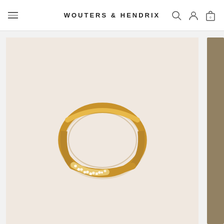WOUTERS & HENDRIX
[Figure (photo): A thin gold ring with small diamond/crystal accents on a pale pink-beige background, shown against a scrollable product image viewer with a taupe color swatch strip on the right.]